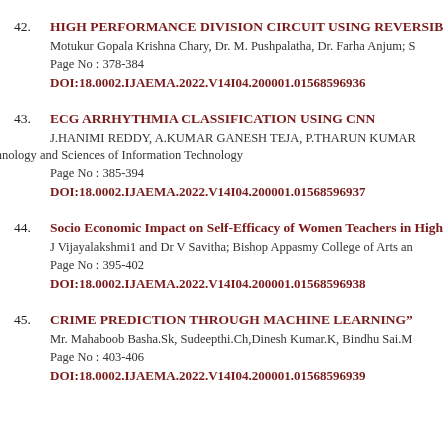42. HIGH PERFORMANCE DIVISION CIRCUIT USING REVERSIB...
Motukur Gopala Krishna Chary, Dr. M. Pushpalatha, Dr. Farha Anjum; S...
Page No : 378-384
DOI:18.0002.IJAEMA.2022.V14I04.200001.01568596936
43. ECG ARRHYTHMIA CLASSIFICATION USING CNN
J.HANIMI REDDY, A.KUMAR GANESH TEJA, P.THARUN KUMAR...
Technology and Sciences of Information Technology
Page No : 385-394
DOI:18.0002.IJAEMA.2022.V14I04.200001.01568596937
44. Socio Economic Impact on Self-Efficacy of Women Teachers in High...
J Vijayalakshmi1 and Dr V Savitha; Bishop Appasmy College of Arts an...
Page No : 395-402
DOI:18.0002.IJAEMA.2022.V14I04.200001.01568596938
45. CRIME PREDICTION THROUGH MACHINE LEARNING"
Mr. Mahaboob Basha.Sk, Sudeepthi.Ch,Dinesh Kumar.K, Bindhu Sai.M...
Page No : 403-406
DOI:18.0002.IJAEMA.2022.V14I04.200001.01568596939